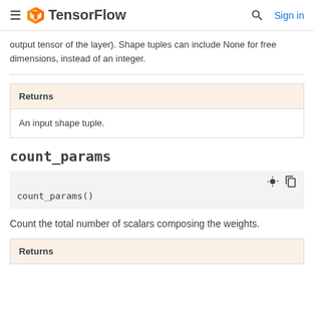TensorFlow — Sign in
output tensor of the layer). Shape tuples can include None for free dimensions, instead of an integer.
| Returns |
| --- |
| An input shape tuple. |
count_params
count_params()
Count the total number of scalars composing the weights.
| Returns |
| --- |